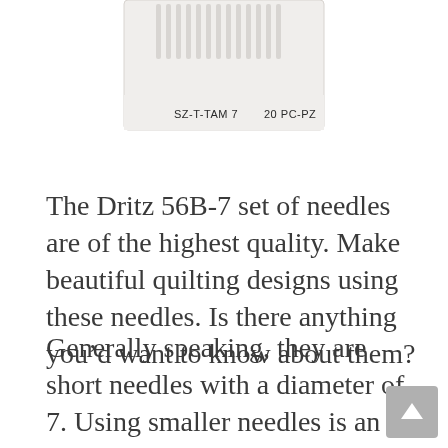[Figure (photo): Product image of a needle package labeled 'SZ-T-TAM 7' and '20 PC-PZ', showing a white package with multiple needles arranged in a row at the top.]
The Dritz 56B-7 set of needles are of the highest quality. Make beautiful quilting designs using these needles. Is there anything you’d want to know about them?
Generally speaking, they are short needles with a diameter of 7. Using smaller needles is an option if you so choose. These needles are also notable for their eyes. They have rounded eyes